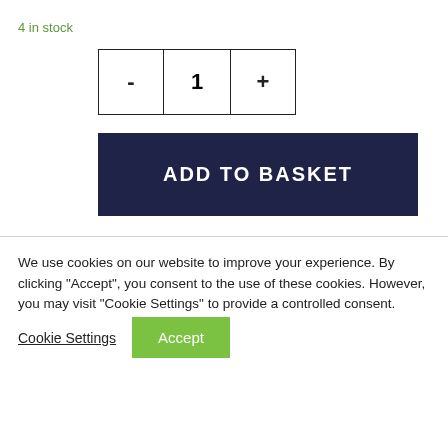4 in stock
[Figure (other): Quantity selector with minus button, quantity display showing 1, and plus button]
ADD TO BASKET
We use cookies on our website to improve your experience. By clicking "Accept", you consent to the use of these cookies. However, you may visit "Cookie Settings" to provide a controlled consent.
Cookie Settings
Accept